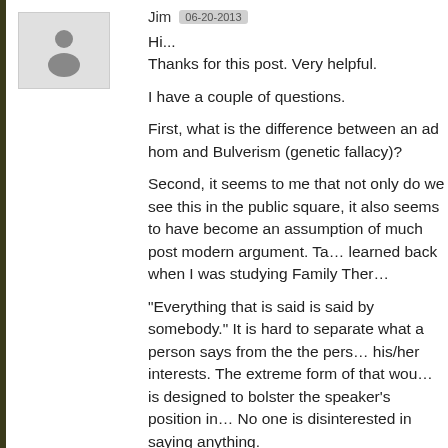[Figure (illustration): Generic avatar/user icon placeholder image — grey background with a dark grey person silhouette]
Jim  06-20-2013
Hi...
Thanks for this post. Very helpful.

I have a couple of questions.

First, what is the difference between an ad hom and Bulverism (genetic fallacy)?

Second, it seems to me that not only do we see this in the public square, it also seems to have become an assumption of much post modern argument. Take what I learned back when I was studying Family Therapy:

"Everything that is said is said by somebody." It is hard to separate what a person says from the the person and his/her interests. The extreme form of that would be that it is designed to bolster the speaker's position in some way. No one is disinterested in saying anything.

IF that is the case and that is central to post modern, wouldn't all such thinking be "Bulverism?"

Thanks again!